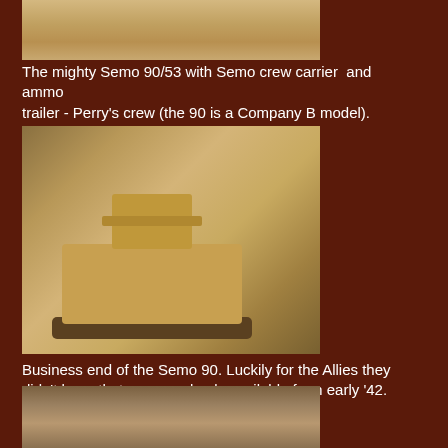[Figure (photo): Top partial photo of miniature wargaming scene, sandy desert terrain]
The mighty Semo 90/53 with Semo crew carrier  and ammo trailer - Perry's crew (the 90 is a Company B model).
[Figure (photo): Photo of Semo 90/53 tank destroyer miniature model on desert terrain, with crew figures around it]
Business end of the Semo 90. Luckily for the Allies they didn't have that many and only available from early '42.
[Figure (photo): Bottom partial photo of miniature wargaming scene with destroyed/knocked out vehicle model and figures]